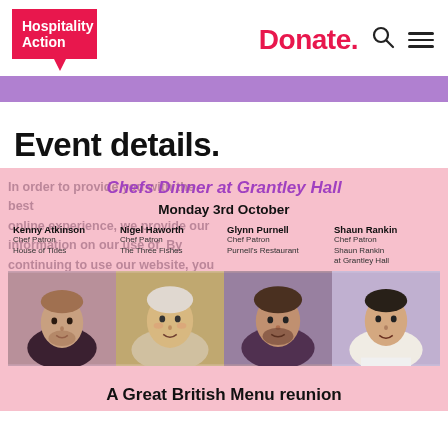[Figure (logo): Hospitality Action logo — red speech-bubble shape with white bold text]
Donate.
Event details.
Chefs Dinner at Grantley Hall
Monday 3rd October
Kenny Atkinson
Chef Patron
House of Tides
Nigel Haworth
Chef Patron
The Three Fishes
Glynn Purnell
Chef Patron
Purnell's Restaurant
Shaun Rankin
Chef Patron
Shaun Rankin
at Grantley Hall
[Figure (photo): Four chef portrait photos in a strip: Kenny Atkinson, Nigel Haworth, Glynn Purnell, Shaun Rankin]
A Great British Menu reunion